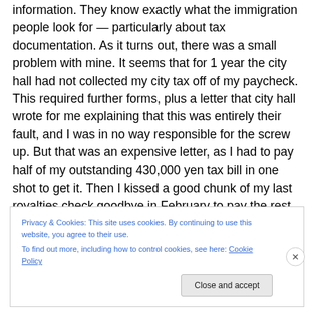information. They know exactly what the immigration people look for — particularly about tax documentation. As it turns out, there was a small problem with mine. It seems that for 1 year the city hall had not collected my city tax off of my paycheck. This required further forms, plus a letter that city hall wrote for me explaining that this was entirely their fault, and I was in no way responsible for the screw up. But that was an expensive letter, as I had to pay half of my outstanding 430,000 yen tax bill in one shot to get it. Then I kissed a good chunk of my last royalties check goodbye in February to pay the rest. Leggo my money, yo!
Privacy & Cookies: This site uses cookies. By continuing to use this website, you agree to their use.
To find out more, including how to control cookies, see here: Cookie Policy